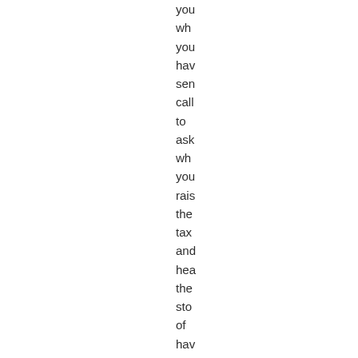you who you have sen call to ask wh you rais the tax and hea the sto of hav to lea the hor of